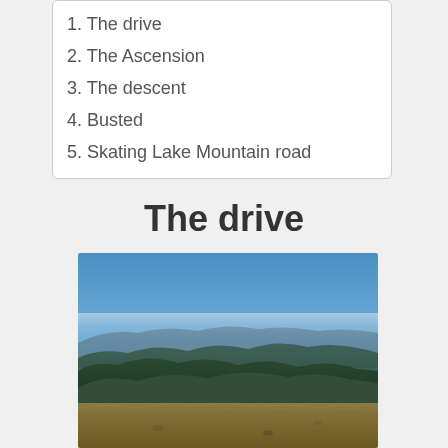1. The drive
2. The Ascension
3. The descent
4. Busted
5. Skating Lake Mountain road
The drive
[Figure (photo): Panoramic mountain landscape with blue sky, rolling forested hills, and grassy foreground — viewed from a high mountain summit.]